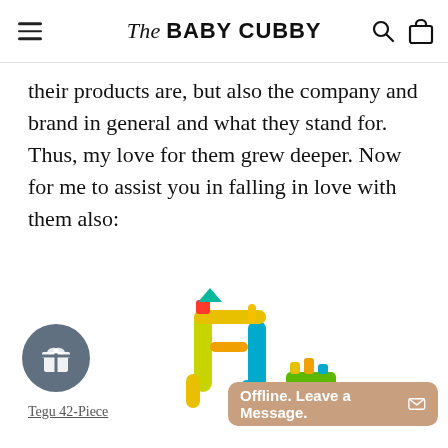The BABY CUBBY
their products are, but also the company and brand in general and what they stand for. Thus, my love for them grew deeper. Now for me to assist you in falling in love with them also:
[Figure (photo): Colorful wooden magnetic building blocks (Tegu) arranged as a tower/gate structure and a small vehicle, with bright colors including red, blue, yellow, and green.]
Tegu 42-Piece